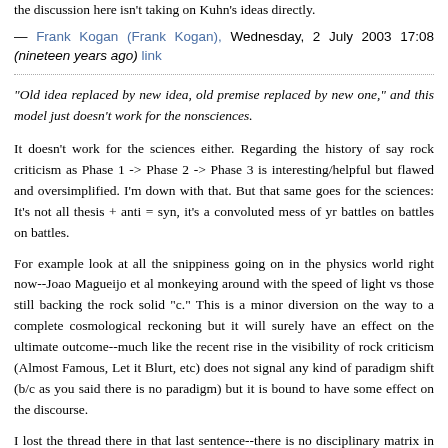the discussion here isn't taking on Kuhn's ideas directly.
— Frank Kogan (Frank Kogan), Wednesday, 2 July 2003 17:08 (nineteen years ago) link
"Old idea replaced by new idea, old premise replaced by new one," and this model just doesn't work for the nonsciences.
It doesn't work for the sciences either. Regarding the history of say rock criticism as Phase 1 -> Phase 2 -> Phase 3 is interesting/helpful but flawed and oversimplified. I'm down with that. But that same goes for the sciences: It's not all thesis + anti = syn, it's a convoluted mess of yr battles on battles on battles.
For example look at all the snippiness going on in the physics world right now--Joao Magueijo et al monkeying around with the speed of light vs those still backing the rock solid "c." This is a minor diversion on the way to a complete cosmological reckoning but it will surely have an effect on the ultimate outcome--much like the recent rise in the visibility of rock criticism (Almost Famous, Let it Blurt, etc) does not signal any kind of paradigm shift (b/c as you said there is no paradigm) but it is bound to have some effect on the discourse.
I lost the thread there in that last sentence--there is no disciplinary matrix in rock crit but the idea of this